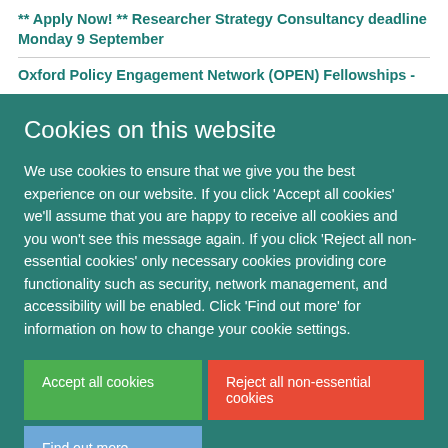** Apply Now! ** Researcher Strategy Consultancy deadline Monday 9 September
Oxford Policy Engagement Network (OPEN) Fellowships -
Cookies on this website
We use cookies to ensure that we give you the best experience on our website. If you click 'Accept all cookies' we'll assume that you are happy to receive all cookies and you won't see this message again. If you click 'Reject all non-essential cookies' only necessary cookies providing core functionality such as security, network management, and accessibility will be enabled. Click 'Find out more' for information on how to change your cookie settings.
Accept all cookies
Reject all non-essential cookies
Find out more